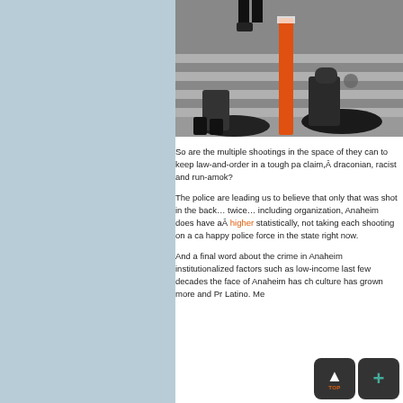[Figure (photo): Police officers on the ground at a pedestrian crossing, with an orange bollard visible. Scene appears to show law enforcement activity on a street.]
So are the multiple shootings in the space of they can to keep law-and-order in a tough pa claim,Â draconian, racist and run-amok?
The police are leading us to believe that only that was shot in the back… twice… including organization, Anaheim does have aÂ higher statistically, not taking each shooting on a ca happy police force in the state right now.
And a final word about the crime in Anaheim institutionalized factors such as low-income last few decades the face of Anaheim has ch culture has grown more and Pr Latino. Me